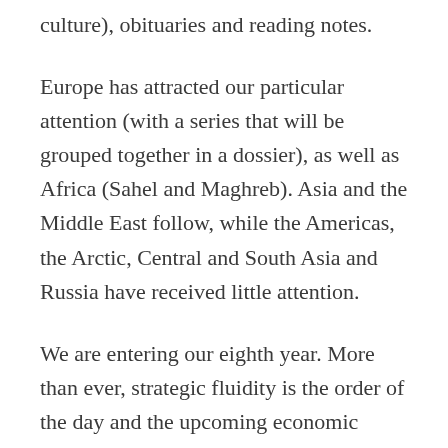culture), obituaries and reading notes.
Europe has attracted our particular attention (with a series that will be grouped together in a dossier), as well as Africa (Sahel and Maghreb). Asia and the Middle East follow, while the Americas, the Arctic, Central and South Asia and Russia have received little attention.
We are entering our eighth year. More than ever, strategic fluidity is the order of the day and the upcoming economic crisis, the results of the American election or the beginnings of the French presidential campaign will accentuate the difficult high-level reading of our environment. More than ever, we will endeavour to present our analyses to you. We